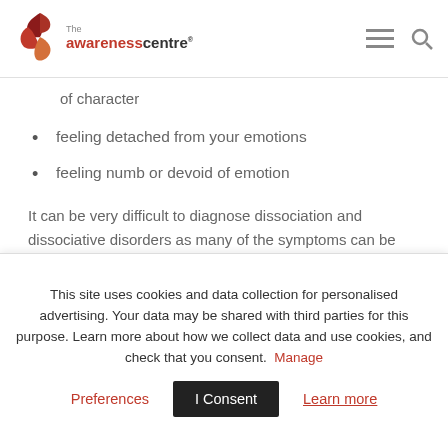The Awareness Centre
of character
feeling detached from your emotions
feeling numb or devoid of emotion
It can be very difficult to diagnose dissociation and dissociative disorders as many of the symptoms can be linked to other mental health issues. The very nature of the condition can also make the sufferer confused and
This site uses cookies and data collection for personalised advertising. Your data may be shared with third parties for this purpose. Learn more about how we collect data and use cookies, and check that you consent. Manage Preferences I Consent Learn more